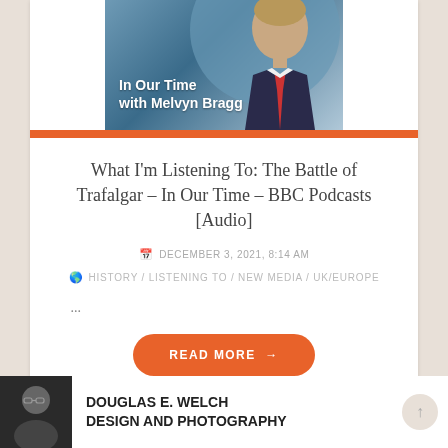[Figure (photo): Podcast thumbnail image for 'In Our Time with Melvyn Bragg' showing a man in a suit against a blue circular background with the show title text overlay]
What I'm Listening To: The Battle of Trafalgar – In Our Time – BBC Podcasts [Audio]
DECEMBER 3, 2021, 8:14 AM
HISTORY / LISTENING TO / NEW MEDIA / UK/EUROPE
...
READ MORE →
[Figure (photo): Small black and white avatar photo of Douglas E. Welch]
DOUGLAS E. WELCH DESIGN AND PHOTOGRAPHY